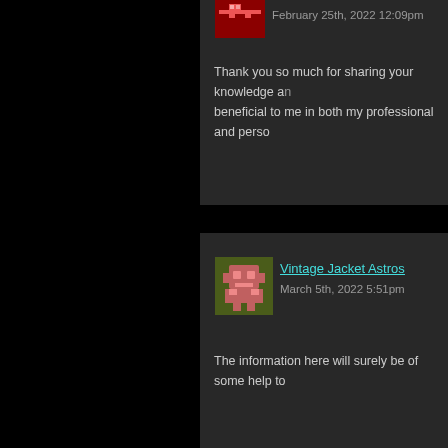February 25th, 2022 12:09pm
Thank you so much for sharing your knowledge and beneficial to me in both my professional and perso...
Vintage Jacket Astros
March 5th, 2022 5:51pm
The information here will surely be of some help to...
Click here to cancel reply.
NAME  ( required )
E-MAIL  ( required ) - will not be published -
URL